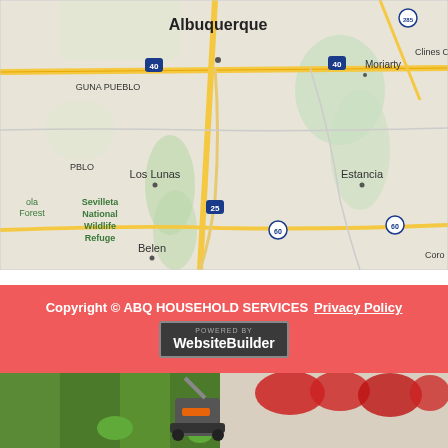[Figure (map): Google Maps view of Albuquerque, New Mexico area showing surrounding cities including Laguna Pueblo, Los Lunas, Belen, Estancia, Moriarty, Clines Corners, Sevilleta National Wildlife Refuge, with highways 40, 25, 60, 285 marked]
Copyright © ABQ HOUSEHOLD SERVICES  Privacy Policy  POWERED BY WebsiteBuilder
[Figure (photo): Lawn mowing scene with lush green grass, a lawn mower, and red flowering bushes in background landscaping]